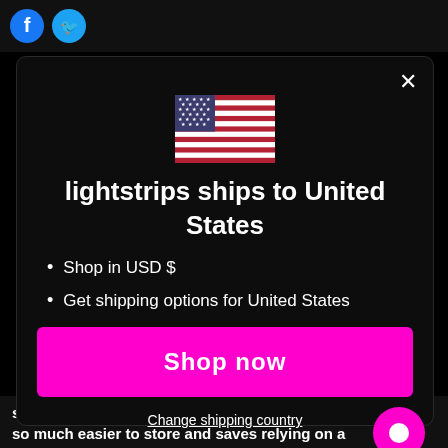[Figure (screenshot): Facebook and Twitter social media icons in circular buttons on dark background top bar]
lightstrips ships to United States
Shop in USD $
Get shipping options for United States
Shop now
Change shipping country
so I upgraded to a ring light on a high stand, it is so much easier to store and saves relying on a